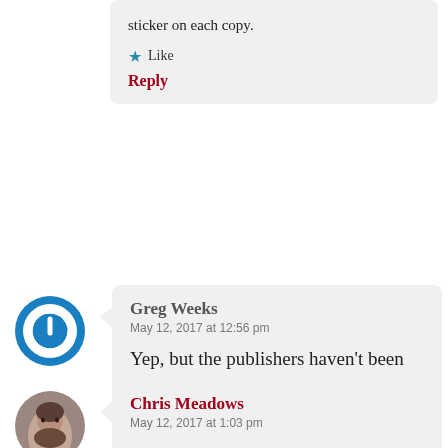sticker on each copy.
Like
Reply
[Figure (illustration): Blue circular power button icon used as avatar]
Greg Weeks
May 12, 2017 at 12:56 pm
Yep, but the publishers haven't been very consistent about it.
Like
[Figure (photo): Photo of Chris Meadows, a man with a beard]
Chris Meadows
May 12, 2017 at 1:03 pm